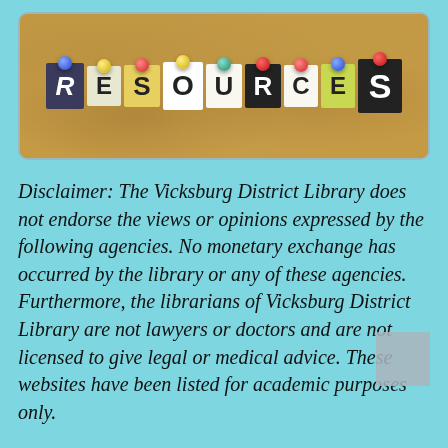[Figure (illustration): Cork board banner with cut-out letters spelling RESOURCES, each letter on a different colored paper card pinned to the board with colorful thumbtacks.]
Disclaimer: The Vicksburg District Library does not endorse the views or opinions expressed by the following agencies. No monetary exchange has occurred by the library or any of these agencies. Furthermore, the librarians of Vicksburg District Library are not lawyers or doctors and are not licensed to give legal or medical advice. These websites have been listed for academic purposes only.